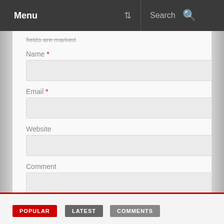Menu  Search
fields are marked
Name *
Email *
Website
Comment
Post Comment
POPULAR  LATEST  COMMENTS